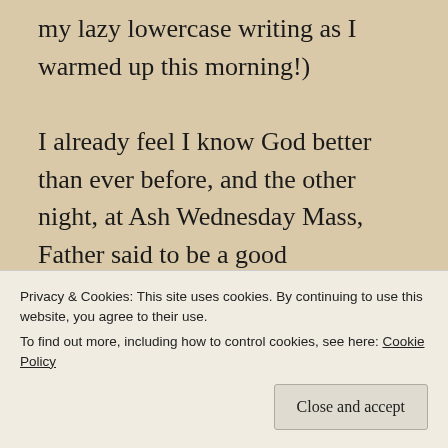my lazy lowercase writing as I warmed up this morning!)

I already feel I know God better than ever before, and the other night, at Ash Wednesday Mass, Father said to be a good ambassador of Christ, and of His Father, we need to truly KNOW Him. Not guess or assume about Him. I'm coming to believe we have grown so far away from Him. So many people THINK they...
Privacy & Cookies: This site uses cookies. By continuing to use this website, you agree to their use.
To find out more, including how to control cookies, see here: Cookie Policy
And its GOOD we know those and obviously